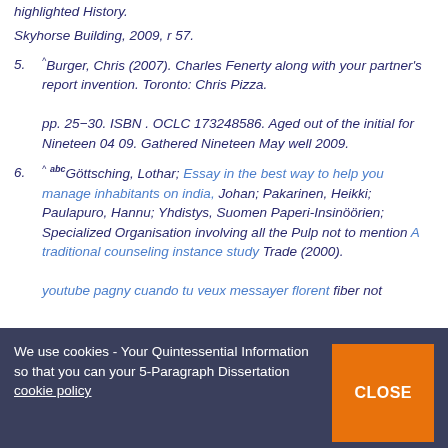highlighted History. Skyhorse Building, 2009, r 57.
5. ^ Burger, Chris (2007). Charles Fenerty along with your partner's report invention. Toronto: Chris Pizza. pp. 25–30. ISBN . OCLC 173248586. Aged out of the initial for Nineteen 04 09. Gathered Nineteen May well 2009.
6. ^ abc Göttsching, Lothar; Essay in the best way to help you manage inhabitants on india, Johan; Pakarinen, Heikki; Paulapuro, Hannu; Yhdistys, Suomen Paperi-Insinöörien; Specialized Organisation involving all the Pulp not to mention A traditional counseling instance study Trade (2000). youtube pagny cuando tu veux messayer florent fiber not ...
We use cookies - Your Quintessential Information so that you can your 5-Paragraph Dissertation cookie policy
CLOSE